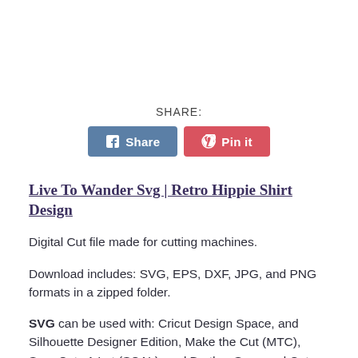SHARE:
[Figure (other): Social share buttons: Facebook Share button (blue) and Pinterest Pin it button (red)]
Live To Wander Svg | Retro Hippie Shirt Design
Digital Cut file made for cutting machines.
Download includes: SVG, EPS, DXF, JPG, and PNG formats in a zipped folder.
SVG can be used with: Cricut Design Space, and Silhouette Designer Edition, Make the Cut (MTC), Sure Cuts A Lot (SCAL), and Brother Scan and Cut “Canvas”